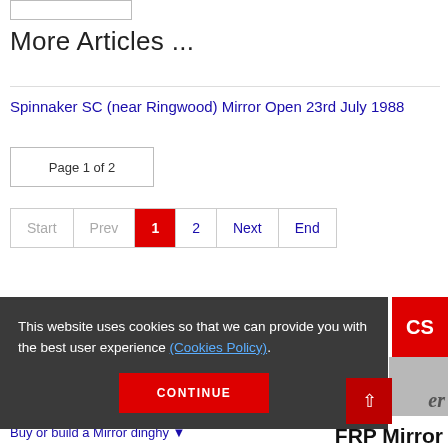More Articles ...
Spinnaker SC (near Ringwood) Mirror Open 23rd July 1988
Page 1 of 2
Start  Prev  1  2  Next  End
This website uses cookies so that we can provide you with the best user experience (Cookies Policy).
CONTINUE
Buy or build a Mirror dinghy ▾
FRP Mirror